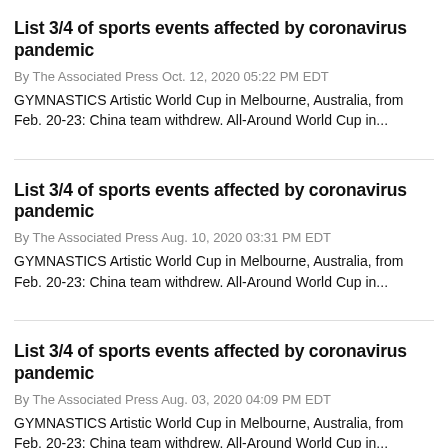List 3/4 of sports events affected by coronavirus pandemic
By The Associated Press Oct. 12, 2020 05:22 PM EDT
GYMNASTICS Artistic World Cup in Melbourne, Australia, from Feb. 20-23: China team withdrew. All-Around World Cup in...
List 3/4 of sports events affected by coronavirus pandemic
By The Associated Press Aug. 10, 2020 03:31 PM EDT
GYMNASTICS Artistic World Cup in Melbourne, Australia, from Feb. 20-23: China team withdrew. All-Around World Cup in...
List 3/4 of sports events affected by coronavirus pandemic
By The Associated Press Aug. 03, 2020 04:09 PM EDT
GYMNASTICS Artistic World Cup in Melbourne, Australia, from Feb. 20-23: China team withdrew. All-Around World Cup in...